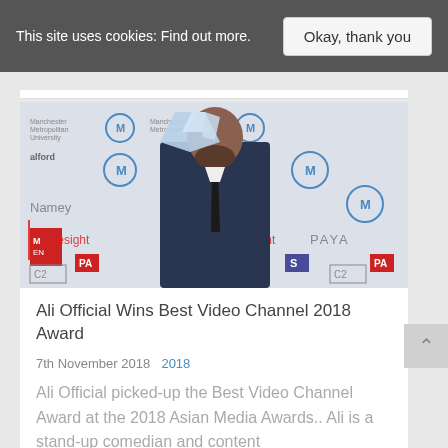This site uses cookies: Find out more.
Okay, thank you
[Figure (photo): Man in dark suit holding trophy/award at an awards ceremony, standing in front of a sponsor backdrop with logos including Namey, primesight, PAYA, Salford, Manchester Metropolitan University, C2, PA.]
Ali Official Wins Best Video Channel 2018 Award
7th November 2018  2018
Ali Official picked-up the Best Video Channel Award at the 2018 Asian Media Awards.. Ali is a stand-up comedian and content